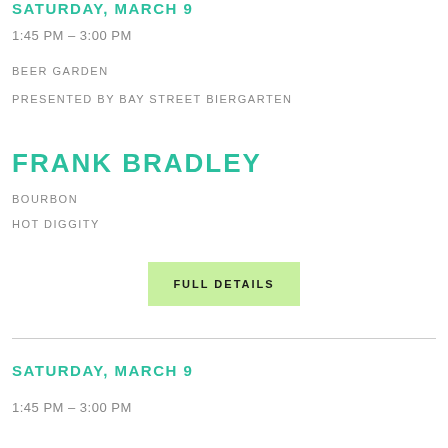SATURDAY, MARCH 9
1:45 PM – 3:00 PM
BEER GARDEN
PRESENTED BY BAY STREET BIERGARTEN
FRANK BRADLEY
BOURBON
HOT DIGGITY
FULL DETAILS
SATURDAY, MARCH 9
1:45 PM – 3:00 PM